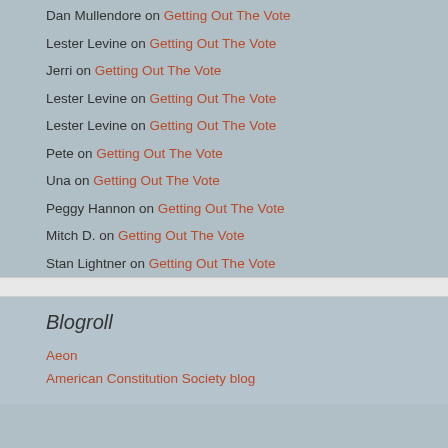Dan Mullendore on Getting Out The Vote
Lester Levine on Getting Out The Vote
Jerri on Getting Out The Vote
Lester Levine on Getting Out The Vote
Lester Levine on Getting Out The Vote
Pete on Getting Out The Vote
Una on Getting Out The Vote
Peggy Hannon on Getting Out The Vote
Mitch D. on Getting Out The Vote
Stan Lightner on Getting Out The Vote
Blogroll
Aeon
American Constitution Society blog